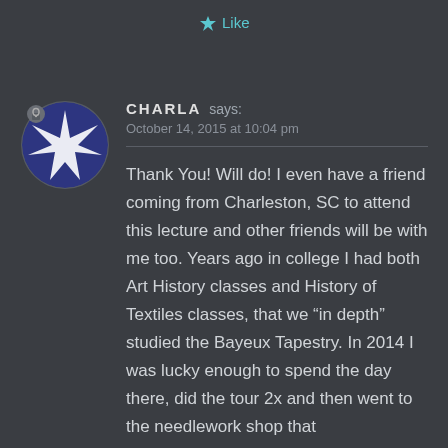Like
CHARLA says:
October 14, 2015 at 10:04 pm
Thank You! Will do! I even have a friend coming from Charleston, SC to attend this lecture and other friends will be with me too. Years ago in college I had both Art History classes and History of Textiles classes, that we “in depth” studied the Bayeux Tapestry. In 2014 I was lucky enough to spend the day there, did the tour 2x and then went to the needlework shop that